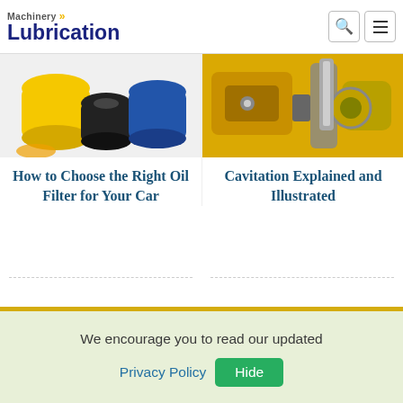Machinery Lubrication
[Figure (photo): Oil filters — yellow, black, and blue cylindrical oil filters on white background]
[Figure (photo): Yellow heavy machinery hydraulic components close-up]
How to Choose the Right Oil Filter for Your Car
Cavitation Explained and Illustrated
We encourage you to read our updated Privacy Policy  Hide